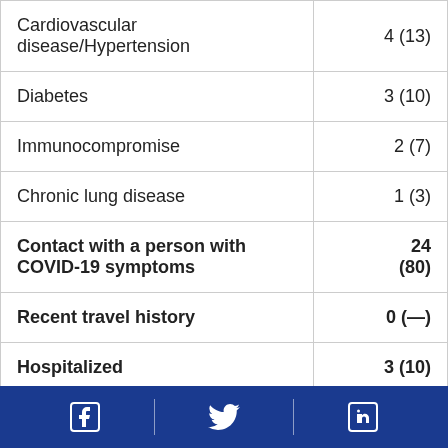|  |  |
| --- | --- |
| Cardiovascular disease/Hypertension | 4 (13) |
| Diabetes | 3 (10) |
| Immunocompromise | 2 (7) |
| Chronic lung disease | 1 (3) |
| Contact with a person with COVID-19 symptoms | 24 (80) |
| Recent travel history | 0 (—) |
| Hospitalized | 3 (10) |
| Deaths | 1 (3) |
Facebook | Twitter | LinkedIn